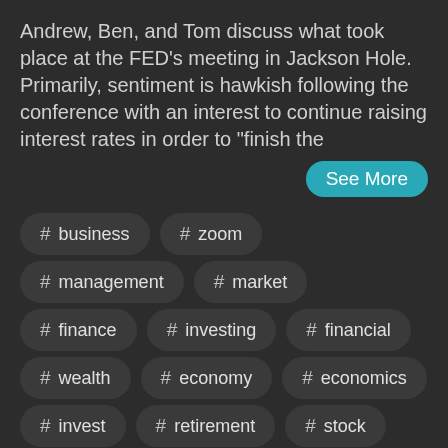Andrew, Ben, and Tom discuss what took place at the FED's meeting in Jackson Hole. Primarily, sentiment is hawkish following the conference with an interest to continue raising interest rates in order to "finish the
See More
# business
# zoom
# management
# market
# finance
# investing
# financial
# wealth
# economy
# economics
# invest
# retirement
# stock
# fed
# advisor
# 401k